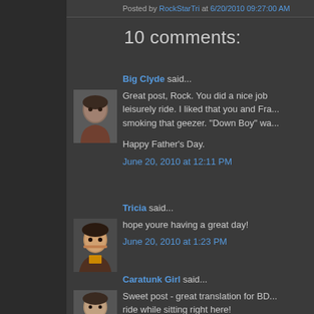Posted by RockStarTri at 6/20/2010 09:27:00 AM
10 comments:
Big Clyde said...
Great post, Rock. You did a nice job of turning what started as a leisurely ride. I liked that you and Fra... smoking that geezer. "Down Boy" wa...

Happy Father's Day.
June 20, 2010 at 12:11 PM
Tricia said...
hope youre having a great day!
June 20, 2010 at 1:23 PM
Caratunk Girl said...
Sweet post - great translation for BD... ride while sitting right here!